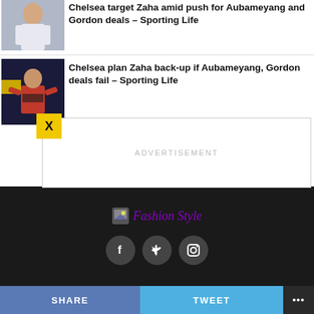[Figure (photo): Photo of a footballer in a white shirt, top of the page (partially visible)]
Chelsea target Zaha amid push for Aubameyang and Gordon deals – Sporting Life
[Figure (photo): Photo of Wilfried Zaha in Crystal Palace red and blue kit with W88 sponsor]
Chelsea plan Zaha back-up if Aubameyang, Gordon deals fail – Sporting Life
[Figure (other): Advertisement box with 'ADVERTISEMENT' label and yellow X close button]
ADVERTISEMENT
[Figure (logo): Fashion Style brand logo with small image icon]
Fashion Style
[Figure (other): Social media icons: Facebook, Twitter, Instagram in dark circles]
SHARE   TWEET   ...